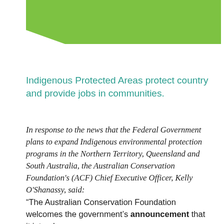[Figure (illustration): Green decorative header graphic with a wavy bottom edge, light green rectangle at top with a white angled cutout at the bottom-left corner]
Indigenous Protected Areas protect country and provide jobs in communities.
In response to the news that the Federal Government plans to expand Indigenous environmental protection programs in the Northern Territory, Queensland and South Australia, the Australian Conservation Foundation's (ACF) Chief Executive Officer, Kelly O'Shanassy, said:
“The Australian Conservation Foundation welcomes the government’s announcement that it intends